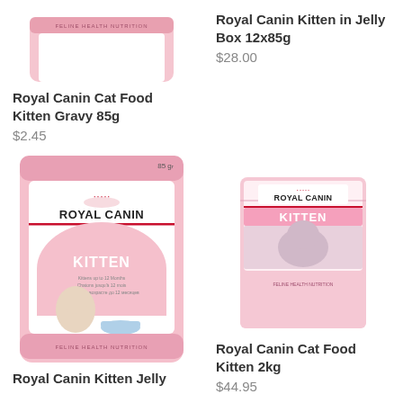[Figure (photo): Partial top view of Royal Canin Kitten Gravy 85g wet food pouch, showing pink packaging with FELINE HEALTH NUTRITION text]
Royal Canin Cat Food Kitten Gravy 85g
$2.45
Royal Canin Kitten in Jelly Box 12x85g
$28.00
[Figure (photo): Royal Canin Kitten wet food pouch 85g with pink packaging showing a kitten and ROYAL CANIN KITTEN branding]
[Figure (photo): Royal Canin Kitten dry food bag 2kg with pink and white packaging showing ROYAL CANIN KITTEN branding and a kitten photo]
Royal Canin Cat Food Kitten 2kg
$44.95
Royal Canin Kitten Jelly